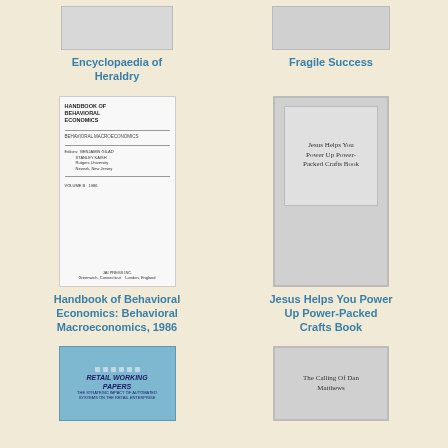[Figure (photo): Partial book cover - Encyclopaedia of Heraldry (cropped at top)]
Encyclopaedia of Heraldry
[Figure (photo): Partial book cover - Fragile Success (cropped at top)]
Fragile Success
[Figure (photo): Book cover - Handbook of Behavioral Economics: Behavioral Macroeconomics, 1986]
Handbook of Behavioral Economics: Behavioral Macroeconomics, 1986
[Figure (photo): Book cover - Jesus Helps You Power Up Power-Packed Crafts Book]
Jesus Helps You Power Up Power-Packed Crafts Book
[Figure (photo): Partial book cover - Retail Working Papers]
[Figure (photo): Partial book cover - The Calling Of Dan Matthews]